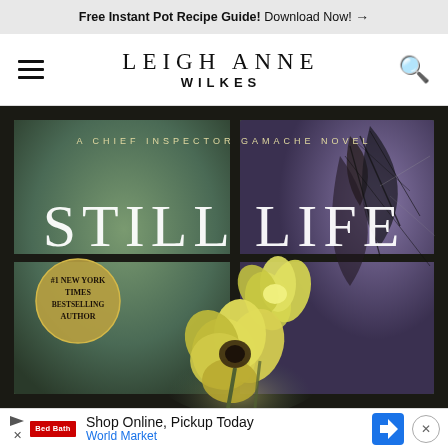Free Instant Pot Recipe Guide! Download Now! →
LEIGH ANNE WILKES
[Figure (photo): Book cover of 'Still Life' – A Chief Inspector Gamache Novel by Louise Penny. A dark atmospheric cover with a yellow-green flower (poppy) in the foreground, a cracked glass window in the background, and a gold circle badge reading '#1 New York Times Bestselling Author'. The title 'STILL LIFE' is in large white serif letters across the middle.]
Shop Online, Pickup Today  World Market